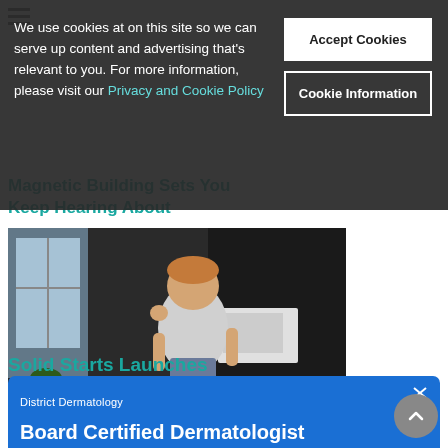We use cookies at on this site so we can serve up content and advertising that's relevant to you. For more information, please visit our Privacy and Cookie Policy
Accept Cookies
Cookie Information
Magnetic Building Sets You Keep Hearing About
[Figure (photo): Toddler child standing on a kitchen table in a home kitchen, wearing a white t-shirt and shorts, touching their face with one hand]
Solid Starts Launches Toddler Course
[Figure (screenshot): Advertisement banner for District Dermatology - Board Certified Dermatologist, listing Acne, Rosacea, Skin Cancer Screenings, Concerning Lesions, Aging Skin]